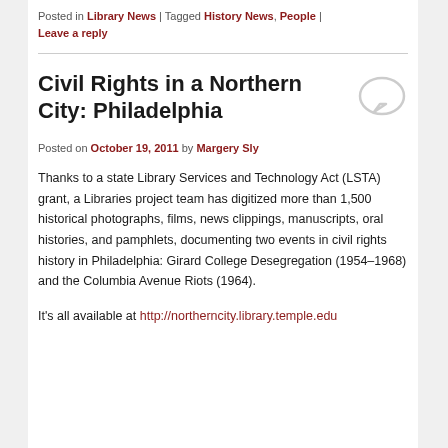Posted in Library News | Tagged History News, People | Leave a reply
Civil Rights in a Northern City: Philadelphia
Posted on October 19, 2011 by Margery Sly
Thanks to a state Library Services and Technology Act (LSTA) grant, a Libraries project team has digitized more than 1,500 historical photographs, films, news clippings, manuscripts, oral histories, and pamphlets, documenting two events in civil rights history in Philadelphia: Girard College Desegregation (1954–1968) and the Columbia Avenue Riots (1964).
It's all available at http://northerncity.library.temple.edu